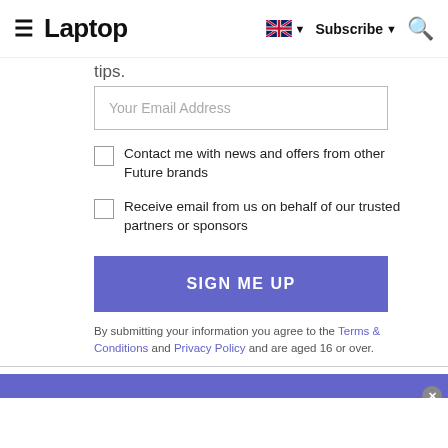Laptop
tips.
Your Email Address
Contact me with news and offers from other Future brands
Receive email from us on behalf of our trusted partners or sponsors
SIGN ME UP
By submitting your information you agree to the Terms & Conditions and Privacy Policy and are aged 16 or over.